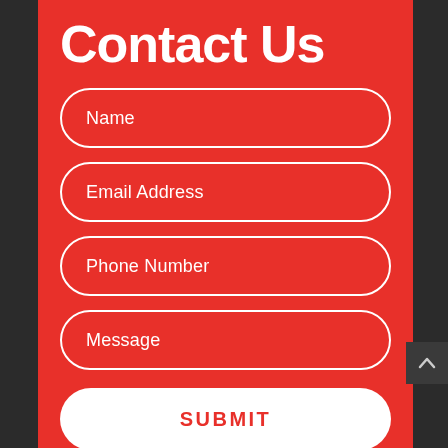Contact Us
Name
Email Address
Phone Number
Message
SUBMIT